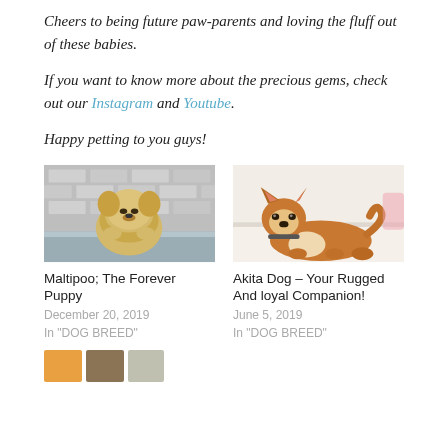Cheers to being future paw-parents and loving the fluff out of these babies.
If you want to know more about the precious gems, check out our Instagram and Youtube.
Happy petting to you guys!
[Figure (photo): A fluffy Maltipoo puppy peeking over a wooden ledge against a white brick wall background]
Maltipoo; The Forever Puppy
December 20, 2019
In "DOG BREED"
[Figure (photo): A Shiba Inu / Akita dog lying down on a bed, looking to the side in an indoor setting]
Akita Dog – Your Rugged And loyal Companion!
June 5, 2019
In "DOG BREED"